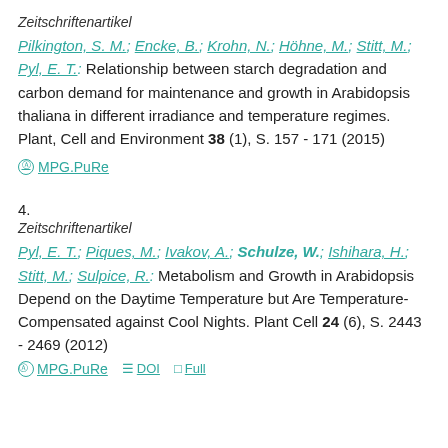Zeitschriftenartikel
Pilkington, S. M.; Encke, B.; Krohn, N.; Höhne, M.; Stitt, M.; Pyl, E. T.: Relationship between starch degradation and carbon demand for maintenance and growth in Arabidopsis thaliana in different irradiance and temperature regimes. Plant, Cell and Environment 38 (1), S. 157 - 171 (2015)
MPG.PuRe
4.
Zeitschriftenartikel
Pyl, E. T.; Piques, M.; Ivakov, A.; Schulze, W.; Ishihara, H.; Stitt, M.; Sulpice, R.: Metabolism and Growth in Arabidopsis Depend on the Daytime Temperature but Are Temperature-Compensated against Cool Nights. Plant Cell 24 (6), S. 2443 - 2469 (2012)
MPG.PuRe   DOI   Full